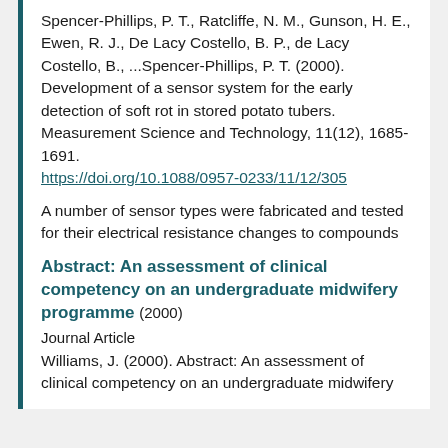Spencer-Phillips, P. T., Ratcliffe, N. M., Gunson, H. E., Ewen, R. J., De Lacy Costello, B. P., de Lacy Costello, B., ...Spencer-Phillips, P. T. (2000). Development of a sensor system for the early detection of soft rot in stored potato tubers. Measurement Science and Technology, 11(12), 1685-1691. https://doi.org/10.1088/0957-0233/11/12/305
A number of sensor types were fabricated and tested for their electrical resistance changes to compounds known to be evolved by potato tubers with soft rot caused by the bacterium Erwinia carotovora. On the basis of these tests, three sensors were se… Read More
Abstract: An assessment of clinical competency on an undergraduate midwifery programme (2000)
Journal Article
Williams, J. (2000). Abstract: An assessment of clinical competency on an undergraduate midwifery